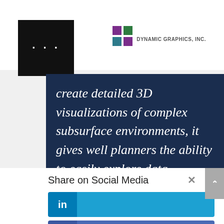[Figure (logo): Black square with three white dots (menu icon) and Dynamic Graphics Inc. logo with colored squares icon and company name text]
create detailed 3D visualizations of complex subsurface environments, it gives well planners the ability to easily explore data relationships, evaluate, and plan the optimum multi-lateral
Share on Social Media
[Figure (infographic): LinkedIn share button - blue]
[Figure (infographic): Facebook share button - dark blue]
[Figure (infographic): Twitter share button - light blue]